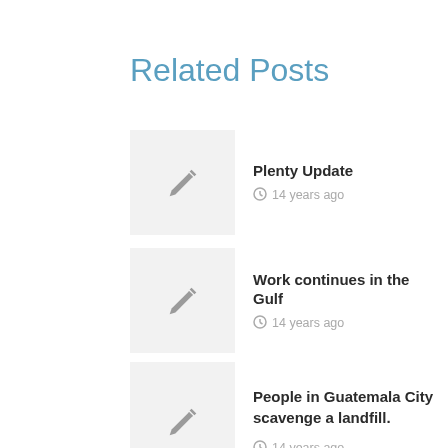Related Posts
Plenty Update · 14 years ago
Work continues in the Gulf · 14 years ago
People in Guatemala City scavenge a landfill. · 14 years ago
KTC Earth Day Celebration in Nashville · 14 years ago
Favorable Decision in